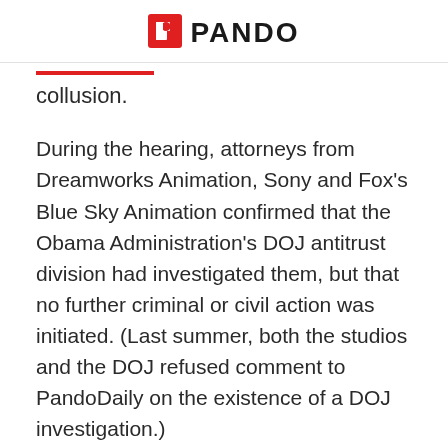PANDO
collusion.
During the hearing, attorneys from Dreamworks Animation, Sony and Fox’s Blue Sky Animation confirmed that the Obama Administration’s DOJ antitrust division had investigated them, but that no further criminal or civil action was initiated. (Last summer, both the studios and the DOJ refused comment to PandoDaily on the existence of a DOJ investigation.)
During the hearing, the studios’ attorneys